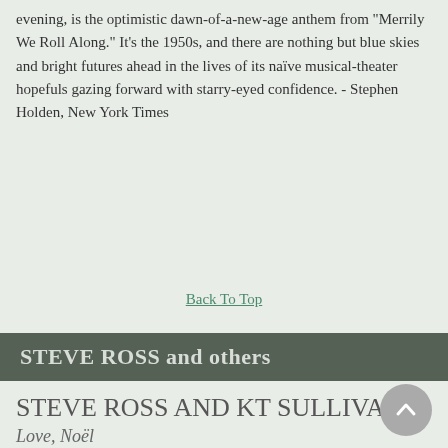evening, is the optimistic dawn-of-a-new-age anthem from “Merrily We Roll Along.” It’s the 1950s, and there are nothing but blue skies and bright futures ahead in the lives of its naïve musical-theater hopefuls gazing forward with starry-eyed confidence. - Stephen Holden, New York Times
Back To Top
STEVE ROSS and others
STEVE ROSS AND KT SULLIVAN
Love, Noël
Ken Marks - The New Yorker Magazine
In addition to being a playwright (“Private Lives,” “Blithe Spirit”), a performer, a songwriter, and an author, the Englishman Noël Coward was a voluminous letter writer. The Coward